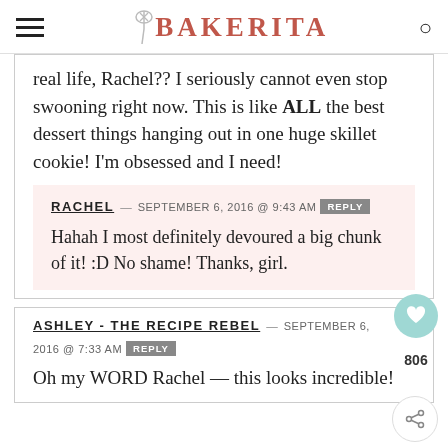BAKERITA
real life, Rachel?? I seriously cannot even stop swooning right now. This is like ALL the best dessert things hanging out in one huge skillet cookie! I'm obsessed and I need!
RACHEL — SEPTEMBER 6, 2016 @ 9:43 AM REPLY
Hahah I most definitely devoured a big chunk of it! :D No shame! Thanks, girl.
ASHLEY - THE RECIPE REBEL — SEPTEMBER 6, 2016 @ 7:33 AM REPLY
Oh my WORD Rachel — this looks incredible!